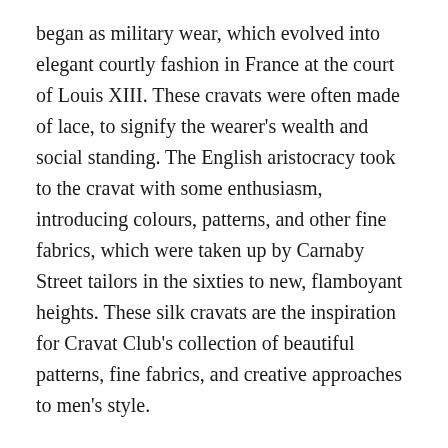began as military wear, which evolved into elegant courtly fashion in France at the court of Louis XIII. These cravats were often made of lace, to signify the wearer's wealth and social standing. The English aristocracy took to the cravat with some enthusiasm, introducing colours, patterns, and other fine fabrics, which were taken up by Carnaby Street tailors in the sixties to new, flamboyant heights. These silk cravats are the inspiration for Cravat Club's collection of beautiful patterns, fine fabrics, and creative approaches to men's style.
Our range of silk cravats include something to suit every style and skin tone - from warm pinks, purples and crimsons, to cooler tones like blues and greys. We also have bespoke, artist-drawn designs from Europe and Asia, to really accentuate your individuality, and to